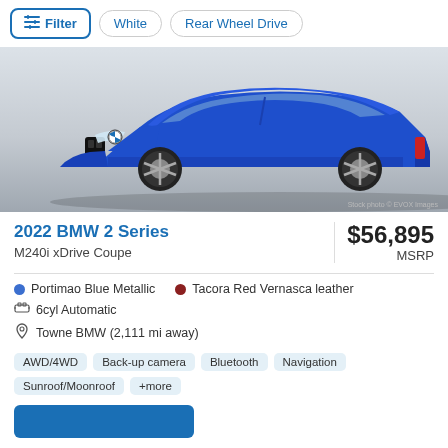Filter | White | Rear Wheel Drive
[Figure (photo): Blue BMW 2 Series M240i xDrive Coupe shown at a 3/4 front angle on a light gray gradient background. Stock photo © EVOX Images watermark visible in bottom right.]
2022 BMW 2 Series
M240i xDrive Coupe
$56,895 MSRP
Portimao Blue Metallic
Tacora Red Vernasca leather
6cyl Automatic
Towne BMW (2,111 mi away)
AWD/4WD
Back-up camera
Bluetooth
Navigation
Sunroof/Moonroof
+more